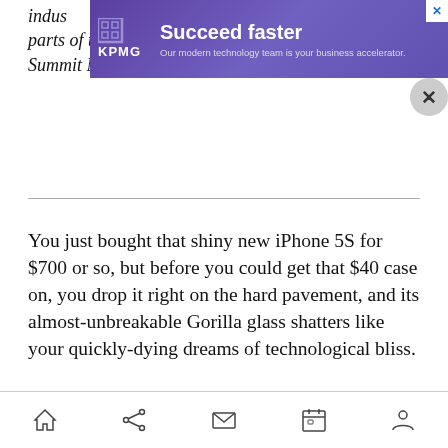indus... ging parts of the industry this October at SalesBeat Summit Next. Register today.
[Figure (screenshot): KPMG advertisement banner with purple/blue gradient background. KPMG logo on left, headline 'Succeed faster', subtext 'Our modern technology team is your business accelerator.' Close X button top right, circular X button below.]
You just bought that shiny new iPhone 5S for $700 or so, but before you could get that $40 case on, you drop it right on the hard pavement, and its almost-unbreakable Gorilla glass shatters like your quickly-dying dreams of technological bliss.
That's sort of what the technology behind a new Apple patent is aiming to prevent.
Navigation bar with home, share, mail, calendar, and person icons